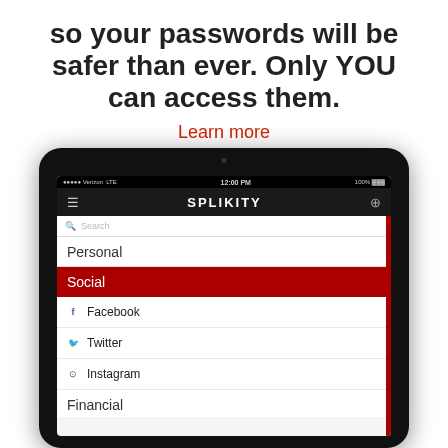so your passwords will be safer than ever. Only YOU can access them.
Learn more
[Figure (screenshot): Tablet device showing the Splikity app interface with categories: Personal, Social (highlighted in red) with Facebook, Twitter, Instagram entries, and Financial section beginning at bottom.]